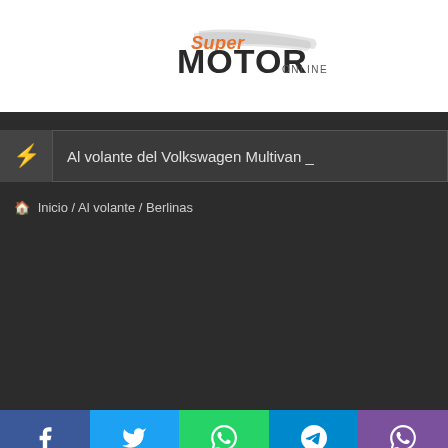[Figure (logo): SuperMotor Online logo with orange and dark lettering on white background]
Al volante del Volkswagen Multivan _
🏠 Inicio / Al volante / Berlinas